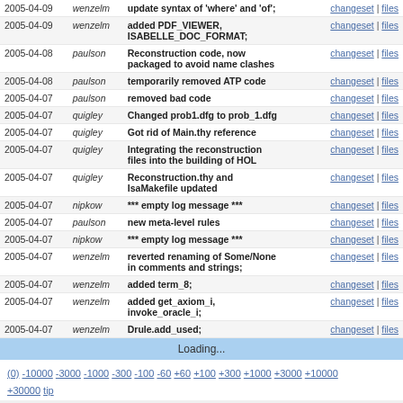| Date | User | Message | Links |
| --- | --- | --- | --- |
| 2005-04-09 | wenzelm | update syntax of 'where' and 'of'; | changeset | files |
| 2005-04-09 | wenzelm | added PDF_VIEWER, ISABELLE_DOC_FORMAT; | changeset | files |
| 2005-04-08 | paulson | Reconstruction code, now packaged to avoid name clashes | changeset | files |
| 2005-04-08 | paulson | temporarily removed ATP code | changeset | files |
| 2005-04-07 | paulson | removed bad code | changeset | files |
| 2005-04-07 | quigley | Changed prob1.dfg to prob_1.dfg | changeset | files |
| 2005-04-07 | quigley | Got rid of Main.thy reference | changeset | files |
| 2005-04-07 | quigley | Integrating the reconstruction files into the building of HOL | changeset | files |
| 2005-04-07 | quigley | Reconstruction.thy and IsaMakefile updated | changeset | files |
| 2005-04-07 | nipkow | *** empty log message *** | changeset | files |
| 2005-04-07 | paulson | new meta-level rules | changeset | files |
| 2005-04-07 | nipkow | *** empty log message *** | changeset | files |
| 2005-04-07 | wenzelm | reverted renaming of Some/None in comments and strings; | changeset | files |
| 2005-04-07 | wenzelm | added term_8; | changeset | files |
| 2005-04-07 | wenzelm | added get_axiom_i, invoke_oracle_i; | changeset | files |
| 2005-04-07 | wenzelm | Drule.add_used; | changeset | files |
Loading...
(0) -10000 -3000 -1000 -300 -100 -60 +60 +100 +300 +1000 +3000 +10000 +30000 tip
testboard